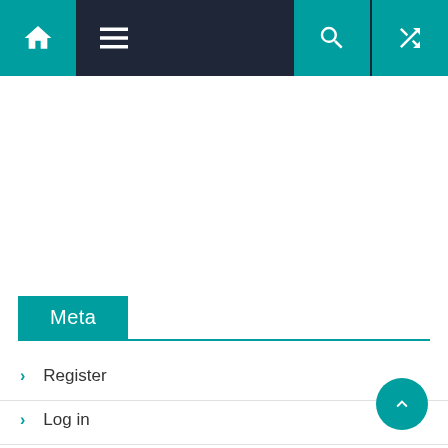Navigation bar with home, menu, search, and shuffle icons
Meta
Register
Log in